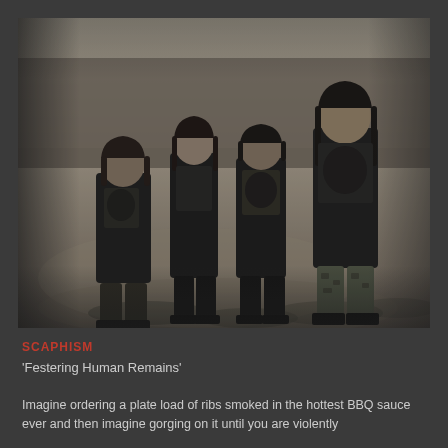[Figure (photo): Black and white photograph of four men (a band) standing outdoors on sandy/dirt ground with dry grass and trees in the background. All wearing dark t-shirts. The tallest member is on the right with long hair.]
SCAPHISM
'Festering Human Remains'
Imagine ordering a plate load of ribs smoked in the hottest BBQ sauce ever and then imagine gorging on it until you are violently